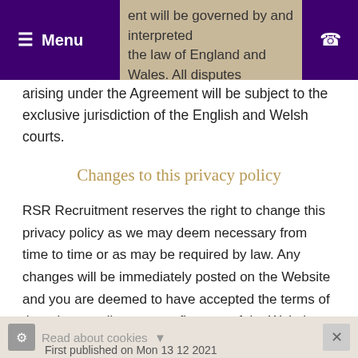Menu | This Agreement will be governed by and interpreted under the law of England and Wales. All disputes
arising under the Agreement will be subject to the exclusive jurisdiction of the English and Welsh courts.
Changes to this privacy policy
RSR Recruitment reserves the right to change this privacy policy as we may deem necessary from time to time or as may be required by law. Any changes will be immediately posted on the Website and you are deemed to have accepted the terms of the privacy policy on your first use of the Website following the alterations.
You may contact RSR Recruitment by email at info@rsrrecruitment.co.uk.
Read about cookies  ×  First published on Mon 13 12 2021